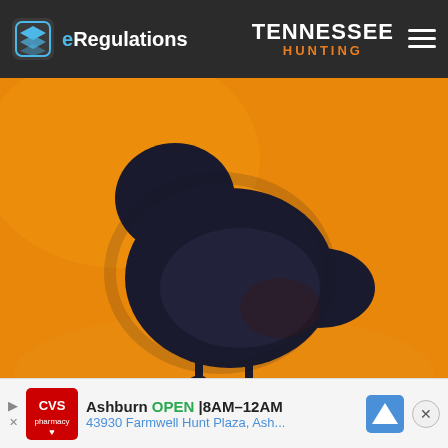eRegulations — TENNESSEE HUNTING
[Figure (illustration): A stylized illustration of a dark-colored quail bird on an orange background, showing the bird in profile with visible feet/legs.]
Quail -Nov. 5 - Jan. 15.
[Figure (other): Advertisement banner: CVS Pharmacy logo. Ashburn OPEN 8AM–12AM. 43930 Farmwell Hunt Plaza, Ash... Navigation arrow icon and close button.]